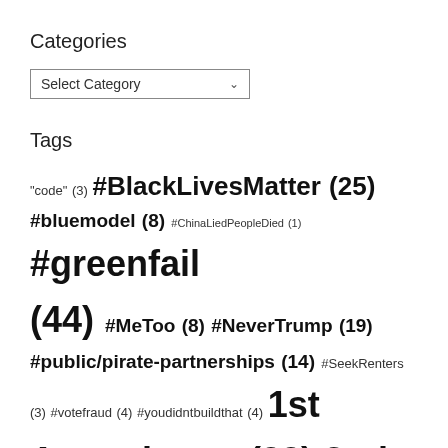Categories
Select Category (dropdown)
Tags
"code" (3) #BlackLivesMatter (25) #bluemodel (8) #ChinaLiedPeopleDied (1) #greenfail (44) #MeToo (8) #NeverTrump (19) #public/pirate-partnerships (14) #SeekRenters (3) #votefraud (4) #youdidntbuildthat (4) 1st Amendment (33) 2nd Amendment (42) 4th Amendment (5) 9-11 (17) 10th Amendment